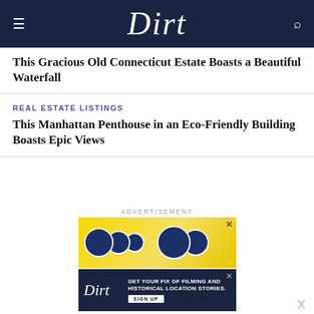Dirt
This Gracious Old Connecticut Estate Boasts a Beautiful Waterfall
REAL ESTATE LISTINGS
This Manhattan Penthouse in an Eco-Friendly Building Boasts Epic Views
ADVERTISEMENT
[Figure (photo): Advertisement banner showing Sonos speakers on a yellow background]
[Figure (photo): Dirt website advertisement banner with dark blue background, Dirt logo, text 'GET YOUR FIX OF FILMING AND HISTORICAL LOCATION STORIES.' and a SIGN UP button]